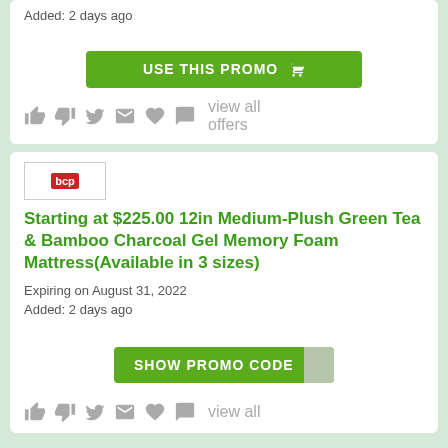Added: 2 days ago
USE THIS PROMO
[Figure (infographic): Social action icons row: thumbs up, thumbs down, twitter bird, envelope, heart, speech bubble, view all offers]
[Figure (logo): bcp brand logo in red rectangle]
Starting at $225.00 12in Medium-Plush Green Tea & Bamboo Charcoal Gel Memory Foam Mattress(Available in 3 sizes)
Expiring on August 31, 2022
Added: 2 days ago
SHOW PROMO CODE
[Figure (infographic): Social action icons row: thumbs up, thumbs down, twitter bird, envelope, heart, speech bubble, view all offers]